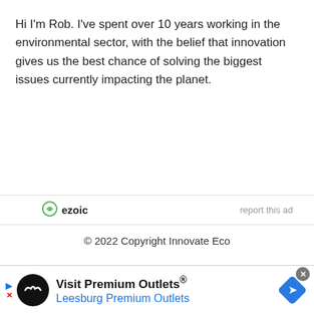Hi I'm Rob. I've spent over 10 years working in the environmental sector, with the belief that innovation gives us the best chance of solving the biggest issues currently impacting the planet.
[Figure (logo): Ezoic logo with green circular icon and text 'ezoic', with 'report this ad' link to the right]
© 2022 Copyright Innovate Eco
[Figure (infographic): Advertisement banner for 'Visit Premium Outlets® — Leesburg Premium Outlets' with black circular logo, blue navigation diamond icon, and play/close controls]